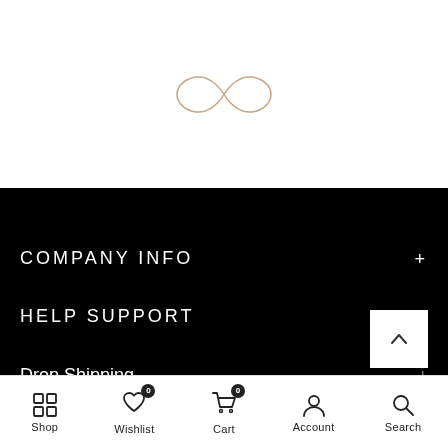[Figure (logo): Infinity symbol logo in rose/copper color, thin line style]
COMPANY INFO
HELP SUPPORT
Drop Shipping
[Figure (other): Back-to-top button with upward chevron arrow]
Shop  Wishlist 0  Cart 0  Account  Search